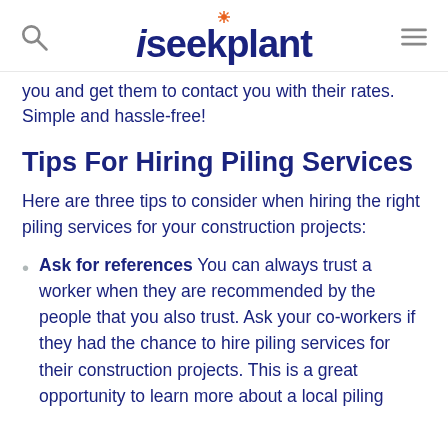iseekplant
you and get them to contact you with their rates. Simple and hassle-free!
Tips For Hiring Piling Services
Here are three tips to consider when hiring the right piling services for your construction projects:
Ask for references You can always trust a worker when they are recommended by the people that you also trust. Ask your co-workers if they had the chance to hire piling services for their construction projects. This is a great opportunity to learn more about a local piling